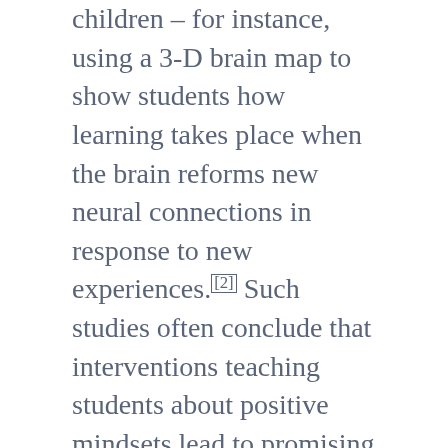children – for instance, using a 3-D brain map to show students how learning takes place when the brain reforms new neural connections in response to new experiences.[2] Such studies often conclude that interventions teaching students about positive mindsets lead to promising improvements in their academic performance.[3]
There may be scope for implementing these findings in the traditional curriculum (i.e. by improving the content and the manner in which subjects are taught). The National Education
Policy of 2020 encourages flexible and enjoyable learning through hands-on learning, arts and sports-integrated education, story-telling or other activities.[1] However, there are challenges in implementing the goal of school education, besides learning about positive...